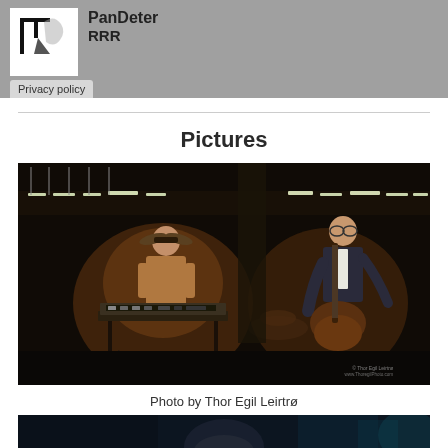PanDeter RRR
Privacy policy
Pictures
[Figure (photo): Two musicians performing on a dark stage. Left musician wears a decorative mask and plays a synthesizer/keyboard setup. Right musician sits and plays an electric guitar, wearing glasses and a suit. Background shows a venue with ambient lighting. Photo credit watermark visible in lower right: Thor Egil Leirtrø / www.ThoregilPhoto.com]
Photo by Thor Egil Leirtrø
[Figure (photo): Partial photo showing the top of a person's head in a dark setting with blue/teal ambient lighting, partially cut off at bottom of page.]